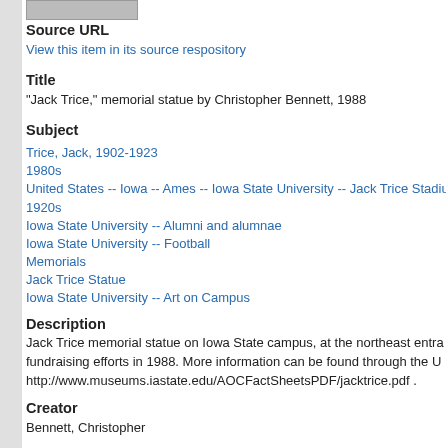[Figure (photo): Partial thumbnail image at top left]
Source URL
View this item in its source respository
Title
"Jack Trice," memorial statue by Christopher Bennett, 1988
Subject
Trice, Jack, 1902-1923
1980s
United States -- Iowa -- Ames -- Iowa State University -- Jack Trice Stadiu
1920s
Iowa State University -- Alumni and alumnae
Iowa State University -- Football
Memorials
Jack Trice Statue
Iowa State University -- Art on Campus
Description
Jack Trice memorial statue on Iowa State campus, at the northeast entra... fundraising efforts in 1988. More information can be found through the U... http://www.museums.iastate.edu/AOCFactSheetsPDF/jacktrice.pdf .
Creator
Bennett, Christopher